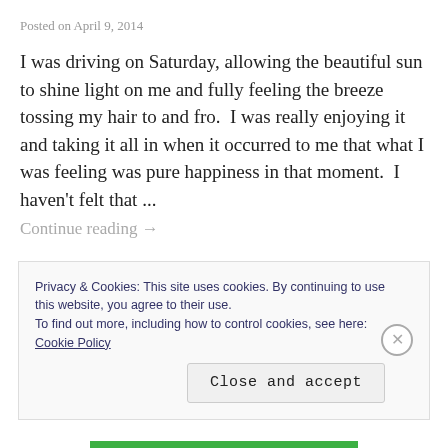Posted on April 9, 2014
I was driving on Saturday, allowing the beautiful sun to shine light on me and fully feeling the breeze tossing my hair to and fro.  I was really enjoying it and taking it all in when it occurred to me that what I was feeling was pure happiness in that moment.  I haven't felt that ...
Continue reading →
Tagged hope, spring     Leave a comment
Privacy & Cookies: This site uses cookies. By continuing to use this website, you agree to their use.
To find out more, including how to control cookies, see here:
Cookie Policy
Close and accept